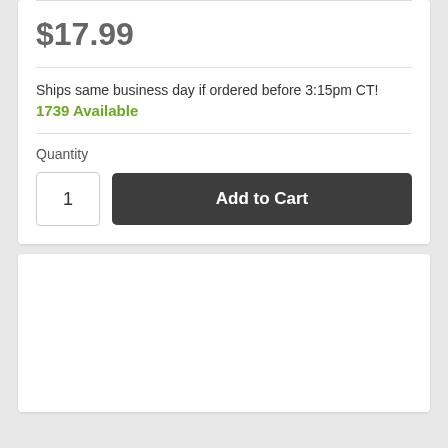$17.99
Ships same business day if ordered before 3:15pm CT!
1739 Available
Quantity
1
Add to Cart